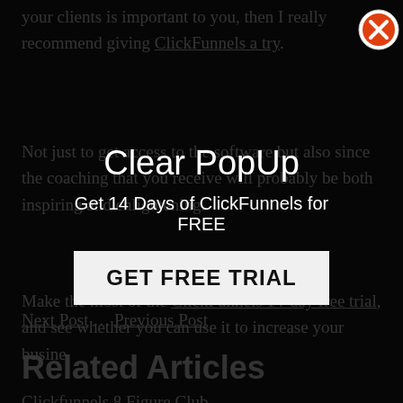your clients is important to you, then I really recommend giving ClickFunnels a try.
Not just to get access to the software but also since the coaching that you receive will probably be both inspiring and enlightening.
[Figure (screenshot): Popup overlay with title 'Clear PopUp', subtitle 'Get 14 Days of ClickFunnels for FREE', and a 'GET FREE TRIAL' button. Close button (X) visible in top right.]
Make the most of the ClickFunnels 14-day free trial, and see whether you can use it to increase your business
Next Post … Previous Post
Related Articles
Clickfunnels 8 Figure Club